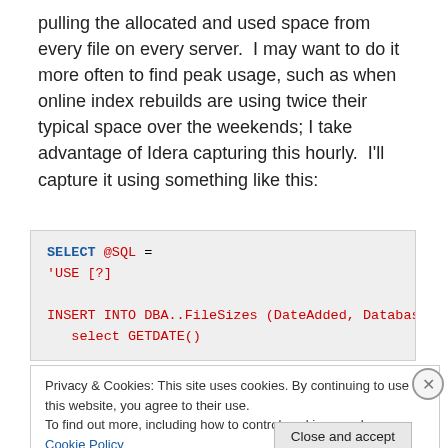pulling the allocated and used space from every file on every server.  I may want to do it more often to find peak usage, such as when online index rebuilds are using twice their typical space over the weekends; I take advantage of Idera capturing this hourly.  I'll capture it using something like this:
[Figure (screenshot): Code block showing SQL: SELECT @SQL = 'USE [?]  INSERT INTO DBA..FileSizes (DateAdded, Database_ID, File_ID, Data_Space_I... select GETDATE()]
Privacy & Cookies: This site uses cookies. By continuing to use this website, you agree to their use. To find out more, including how to control cookies, see here: Cookie Policy